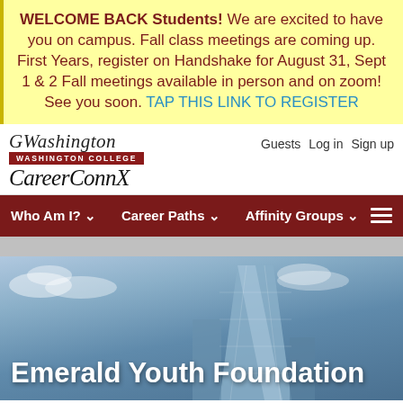WELCOME BACK Students! We are excited to have you on campus. Fall class meetings are coming up. First Years, register on Handshake for August 31, Sept 1 & 2 Fall meetings available in person and on zoom! See you soon. TAP THIS LINK TO REGISTER
[Figure (logo): George Washington College / CareerConnX logo with script lettering and maroon label bar]
Guests  Log in  Sign up
Who Am I?  Career Paths  Affinity Groups
Emerald Youth Foundation